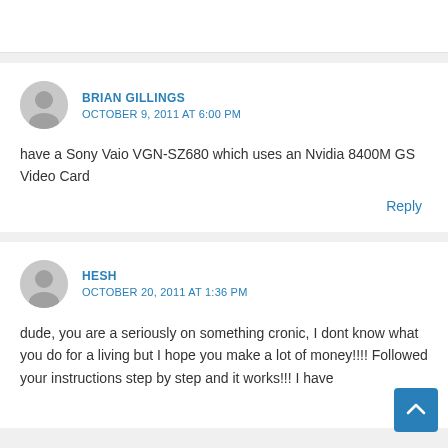BRIAN GILLINGS
OCTOBER 9, 2011 AT 6:00 PM
have a Sony Vaio VGN-SZ680 which uses an Nvidia 8400M GS Video Card
Reply
HESH
OCTOBER 20, 2011 AT 1:36 PM
dude, you are a seriously on something cronic, I dont know what you do for a living but I hope you make a lot of money!!!! Followed your instructions step by step and it works!!! I have